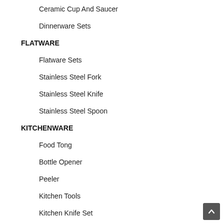Ceramic Cup And Saucer
Dinnerware Sets
FLATWARE
Flatware Sets
Stainless Steel Fork
Stainless Steel Knife
Stainless Steel Spoon
KITCHENWARE
Food Tong
Bottle Opener
Peeler
Kitchen Tools
Kitchen Knife Set
Stainless Steel Container
PLASTICWARE